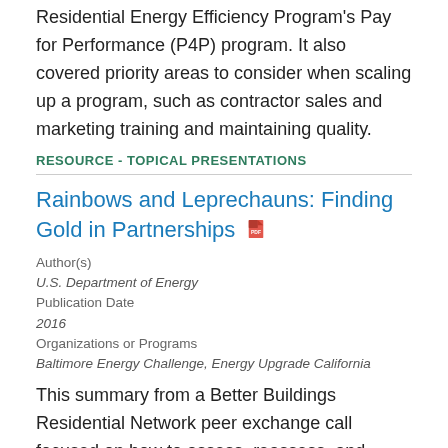Residential Energy Efficiency Program's Pay for Performance (P4P) program. It also covered priority areas to consider when scaling up a program, such as contractor sales and marketing training and maintaining quality.
RESOURCE - TOPICAL PRESENTATIONS
Rainbows and Leprechauns: Finding Gold in Partnerships
Author(s)
U.S. Department of Energy
Publication Date
2016
Organizations or Programs
Baltimore Energy Challenge, Energy Upgrade California
This summary from a Better Buildings Residential Network peer exchange call focused on how to assess, reassess, and initiate organization partnerships.